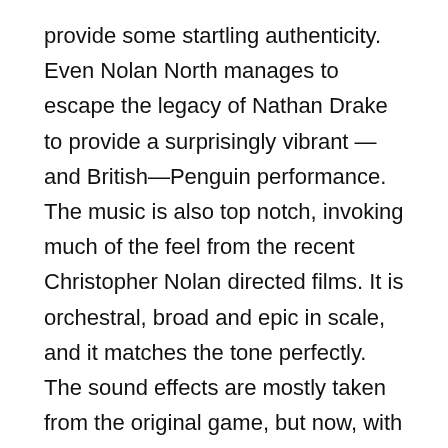provide some startling authenticity. Even Nolan North manages to escape the legacy of Nathan Drake to provide a surprisingly vibrant —and British—Penguin performance. The music is also top notch, invoking much of the feel from the recent Christopher Nolan directed films. It is orchestral, broad and epic in scale, and it matches the tone perfectly. The sound effects are mostly taken from the original game, but now, with added scale of Arkham City to romp through, they have much more space to play in.
It's What You Do That Defines You